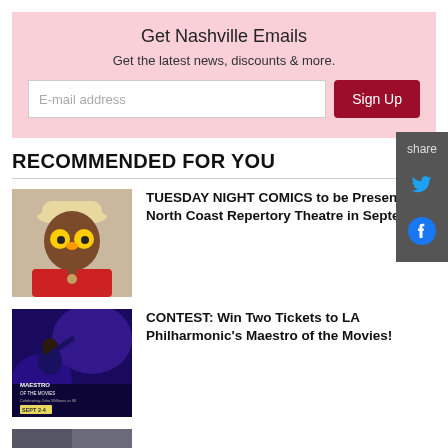Get Nashville Emails
Get the latest news, discounts & more.
E-mail address
Sign Up
RECOMMENDED FOR YOU
[Figure (photo): Man in red outfit with yellow duck novelty glasses and white hat]
TUESDAY NIGHT COMICS to be Presented at North Coast Repertory Theatre in September
[Figure (photo): Maestro of the Movies promotional image with conductor and blue concert lighting, text reads MAESTRO OF THE MOVIES Celebrating John Williams at 90, SEPT 2-4]
CONTEST: Win Two Tickets to LA Philharmonic's Maestro of the Movies!